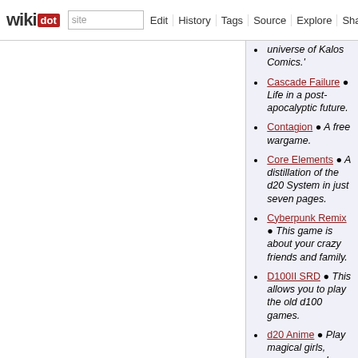wikidot | site | Edit | History | Tags | Source | Explore | Share on [Twitter]
universe of Kalos Comics.'
Cascade Failure • Life in a post-apocalyptic future.
Contagion • A free wargame.
Core Elements • A distillation of the d20 System in just seven pages.
Cyberpunk Remix • This game is about your crazy friends and family.
D100II SRD • This allows you to play the old d100 games.
d20 Anime • Play magical girls, sorcerers and mecha